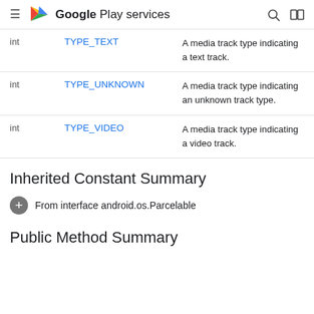Google Play services
| Type | Name | Description |
| --- | --- | --- |
| int | TYPE_TEXT | A media track type indicating a text track. |
| int | TYPE_UNKNOWN | A media track type indicating an unknown track type. |
| int | TYPE_VIDEO | A media track type indicating a video track. |
Inherited Constant Summary
From interface android.os.Parcelable
Public Method Summary